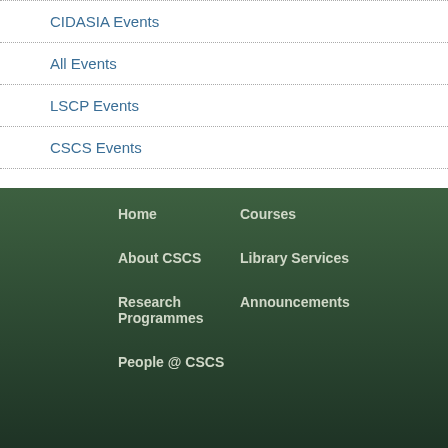CIDASIA Events
All Events
LSCP Events
CSCS Events
Home
About CSCS
Research Programmes
People @ CSCS
Courses
Library Services
Announcements